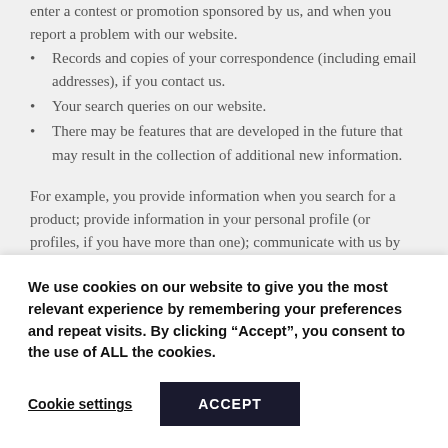enter a contest or promotion sponsored by us, and when you report a problem with our website.
Records and copies of your correspondence (including email addresses), if you contact us.
Your search queries on our website.
There may be features that are developed in the future that may result in the collection of additional new information.
For example, you provide information when you search for a product; provide information in your personal profile (or profiles, if you have more than one); communicate with us by phone, email, or otherwise; complete a questionnaire; or use
We use cookies on our website to give you the most relevant experience by remembering your preferences and repeat visits. By clicking “Accept”, you consent to the use of ALL the cookies.
Cookie settings
ACCEPT